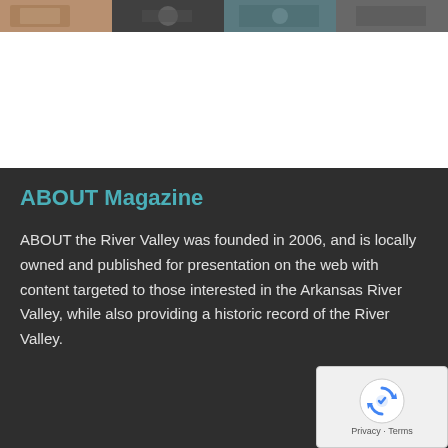[Figure (photo): Strip of partial magazine cover images at the top of the page, showing four photo panels side by side.]
ABOUT Magazine
ABOUT the River Valley was founded in 2006, and is locally owned and published for presentation on the web with content targeted to those interested in the Arkansas River Valley, while also providing a historic record of the River Valley.
[Figure (other): reCAPTCHA widget with spinning arrows logo and Privacy - Terms text at bottom right.]